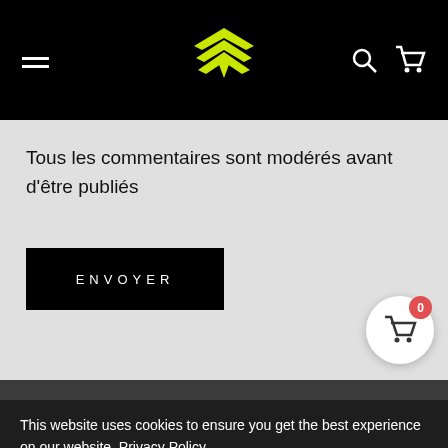Navigation header with hamburger menu, logo, search and cart icons
Tous les commentaires sont modérés avant d'être publiés
ENVOYER
This website uses cookies to ensure you get the best experience on our website. Privacy Policy
Preferences
Accept